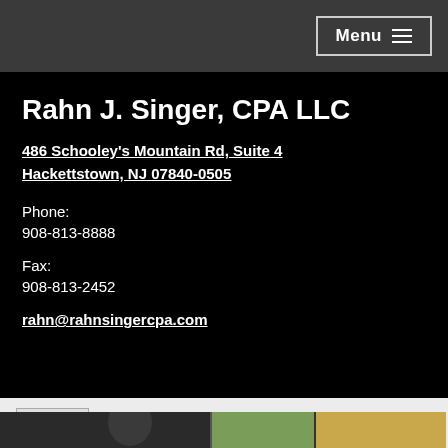Menu
Rahn J. Singer, CPA LLC
486 Schooley's Mountain Rd, Suite 4
Hackettstown, NJ 07840-0505
Phone:
908-813-8888
Fax:
908-813-2452
rahn@rahnsingercpa.com
Print
[Figure (photo): Partial photo thumbnails visible at bottom of page]